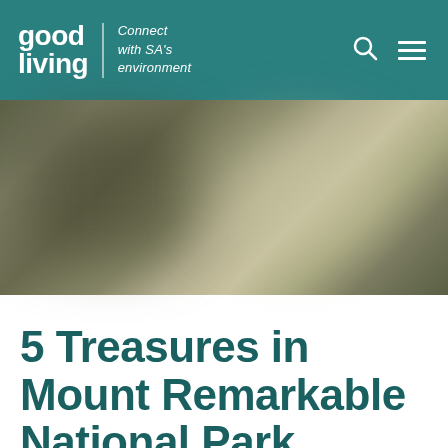good living | Connect with SA's environment
[Figure (photo): Blurred outdoor/nature photograph used as hero banner image, showing muted greens and beiges suggesting a landscape]
5 Treasures in Mount Remarkable National Park